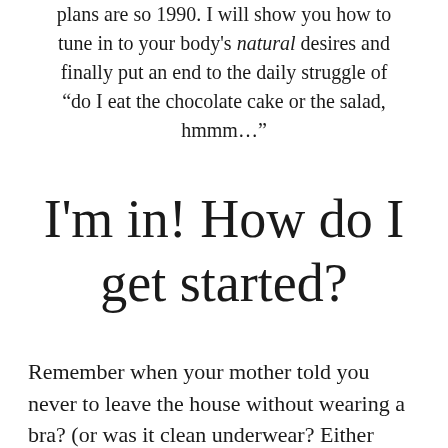plans are so 1990. I will show you how to tune in to your body's natural desires and finally put an end to the daily struggle of “do I eat the chocolate cake or the salad, hmmm…”
I'm in! How do I get started?
Remember when your mother told you never to leave the house without wearing a bra? (or was it clean underwear? Either way.) Well,